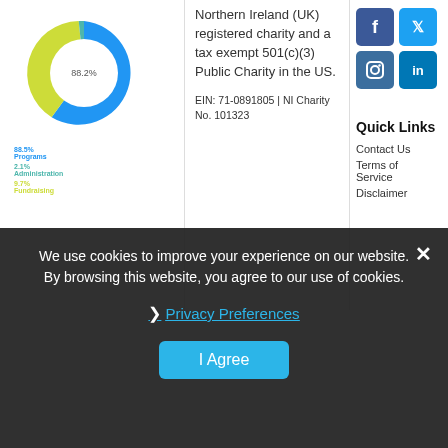[Figure (donut-chart): Expense breakdown]
Project is a Northern Ireland (UK) registered charity and a tax exempt 501(c)(3) Public Charity in the US.
EIN: 71-0891805 | NI Charity No. 101323
[Figure (infographic): Social media icons: Facebook, Twitter, Instagram, LinkedIn]
Quick Links
Contact Us
Terms of Service
Disclaimer
We use cookies to improve your experience on our website. By browsing this website, you agree to our use of cookies.
Privacy Preferences
I Agree